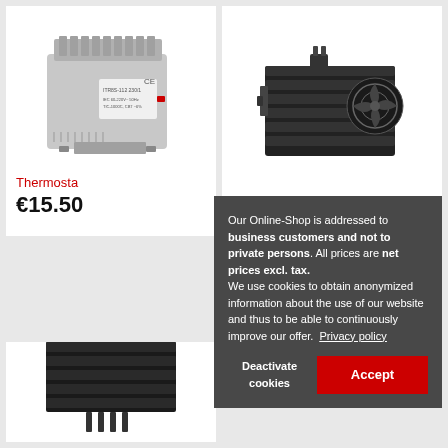[Figure (photo): Gray DIN-rail thermostat/transformer unit with heat sink fins on top, mounted on rail, showing CE label and product label on front]
Thermosta
€15.50
[Figure (photo): Black fan-cooled heatsink unit with metal fins and circular fan, industrial electrical component]
[Figure (photo): Black industrial heatsink unit, partial view at bottom of page]
Our Online-Shop is addressed to business customers and not to private persons. All prices are net prices excl. tax.
We use cookies to obtain anonymized information about the use of our website and thus to be able to continuously improve our offer.  Privacy policy
Deactivate cookies
Accept